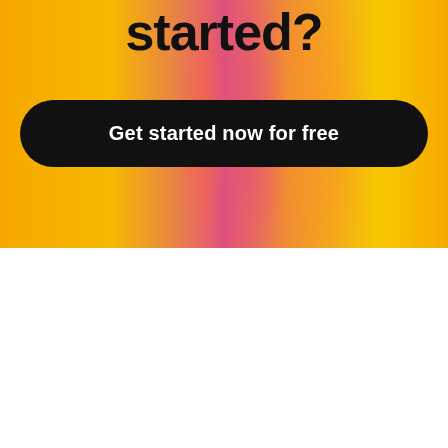started?
Get started now for free
Learn more about mortgage brokers